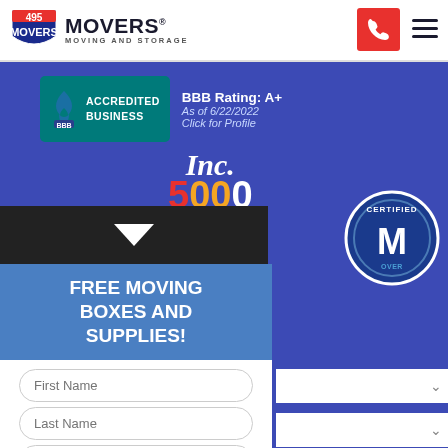[Figure (logo): 495 Movers Moving and Storage logo with highway shield icon]
[Figure (logo): Phone call button (red square with phone icon)]
[Figure (logo): Hamburger menu icon]
[Figure (logo): BBB Accredited Business badge with A+ rating, as of 6/22/2022, Click for Profile]
[Figure (logo): Inc. 5000 logo]
[Figure (logo): Certified mover badge (partial, blue circle)]
FREE MOVING BOXES AND SUPPLIES!
First Name
Last Name
Phone Number
Email